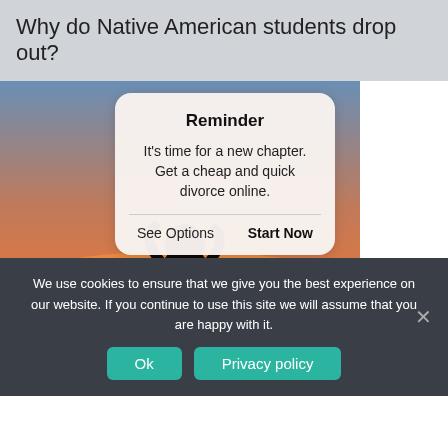Why do Native American students drop out?
[Figure (photo): A silhouette of a person sitting against a sunset sky background with a mobile-style popup overlay. The popup reads 'Reminder - It's time for a new chapter. Get a cheap and quick divorce online.' with 'See Options' and 'Start Now' actions.]
We use cookies to ensure that we give you the best experience on our website. If you continue to use this site we will assume that you are happy with it.
Ok
Privacy policy